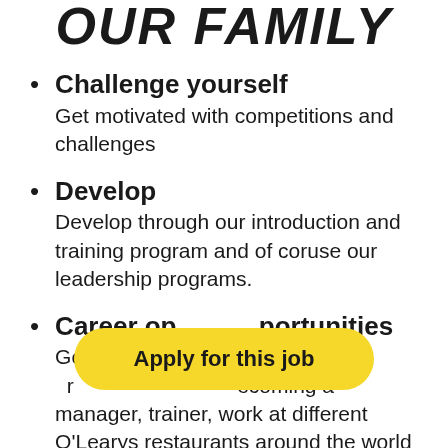OUR FAMILY
Challenge yourself — Get motivated with competitions and challenges
Develop — Develop through our introduction and training program and of coruse our leadership programs.
Career opportunities — Go further ... becoming a manager, trainer, work at different O'Learys restaurants around the world or
[Figure (other): Yellow pill-shaped button overlay with text 'Apply for this job']